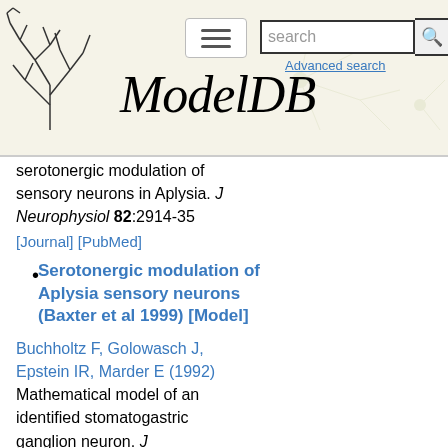ModelDB — Advanced search
serotonergic modulation of sensory neurons in Aplysia. J Neurophysiol 82:2914-35 [Journal] [PubMed]
Serotonergic modulation of Aplysia sensory neurons (Baxter et al 1999) [Model]
Buchholtz F, Golowasch J, Epstein IR, Marder E (1992) Mathematical model of an identified stomatogastric ganglion neuron. J Neurophysiol 67:332-40 [Journal] [PubMed]
Byrne JH, Kandel ER (1996) Presynaptic facilitation revisited: state and time dependence. J Neurosci 16:425-35 [PubMed]